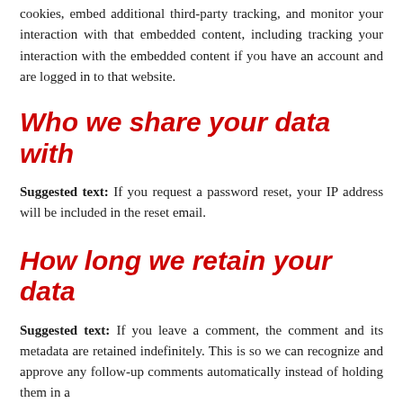cookies, embed additional third-party tracking, and monitor your interaction with that embedded content, including tracking your interaction with the embedded content if you have an account and are logged in to that website.
Who we share your data with
Suggested text: If you request a password reset, your IP address will be included in the reset email.
How long we retain your data
Suggested text: If you leave a comment, the comment and its metadata are retained indefinitely. This is so we can recognize and approve any follow-up comments automatically instead of holding them in a